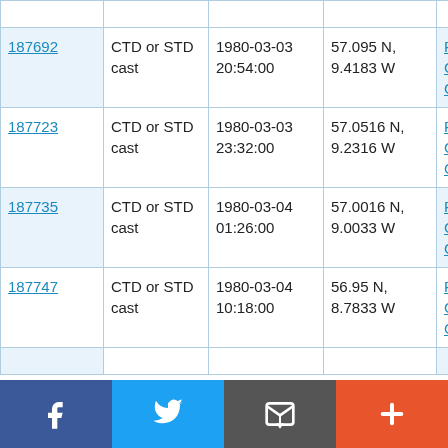| ID | Type | Date/Time | Location | Vessel |
| --- | --- | --- | --- | --- |
| 187692 | CTD or STD cast | 1980-03-03 20:54:00 | 57.095 N, 9.4183 W | RRS Challenger CH4/80 |
| 187723 | CTD or STD cast | 1980-03-03 23:32:00 | 57.0516 N, 9.2316 W | RRS Challenger CH4/80 |
| 187735 | CTD or STD cast | 1980-03-04 01:26:00 | 57.0016 N, 9.0033 W | RRS Challenger CH4/80 |
| 187747 | CTD or STD cast | 1980-03-04 10:18:00 | 56.95 N, 8.7833 W | RRS Challenger CH4/80 |